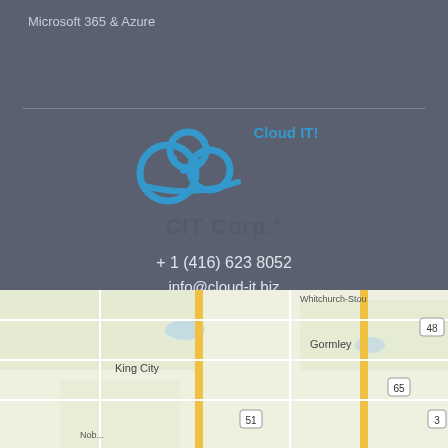Microsoft 365 & Azure
[Figure (logo): CIT Corp Cloud IT! logo with blue cloud icon and company name]
+ 1 (416) 623 8052
info@cloud-it.biz
Cloud IT! (CIT Corp) Copyright 2022 © All rights reserved.
[Figure (map): Google Maps showing area around King City and Gormley with route 48, 65, 51, 3 visible and Whitchurch-Stouffville region]